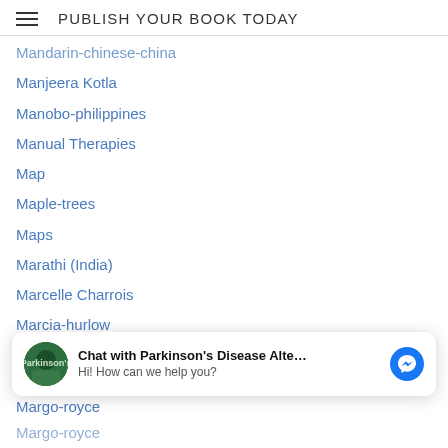PUBLISH YOUR BOOK TODAY
Mandarin-chinese-china
Manjeera Kotla
Manobo-philippines
Manual Therapies
Map
Maple-trees
Maps
Marathi (India)
Marcelle Charrois
Marcia-hurlow
Marci-shimoff
Marci Vitkus
Marek-lukaszewicz
Marfans-syndrome
[Figure (screenshot): Chat widget overlay: avatar image of Parkinson's Disease book cover, bold text 'Chat with Parkinson's Disease Alte...', subtext 'Hi! How can we help you?', blue Messenger icon button]
Margo-royce
Margo-royce